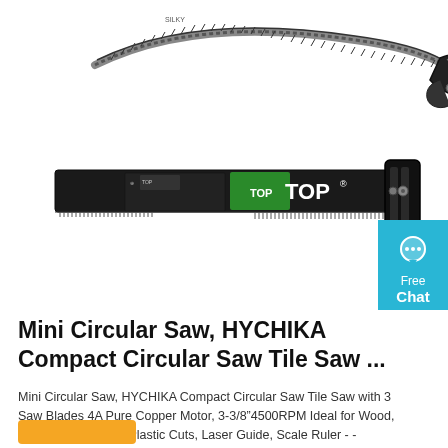[Figure (photo): Product photo of two folding saws: one curved/folding pruning saw on top, and one straight folding saw (TOP brand) below, shown against white background. A cyan 'Free Chat' button is visible on the right edge.]
Mini Circular Saw, HYCHIKA Compact Circular Saw Tile Saw ...
Mini Circular Saw, HYCHIKA Compact Circular Saw Tile Saw with 3 Saw Blades 4A Pure Copper Motor, 3-3/8‘4500RPM Ideal for Wood, Soft Metal, Tile and Plastic Cuts, Laser Guide, Scale Ruler - -